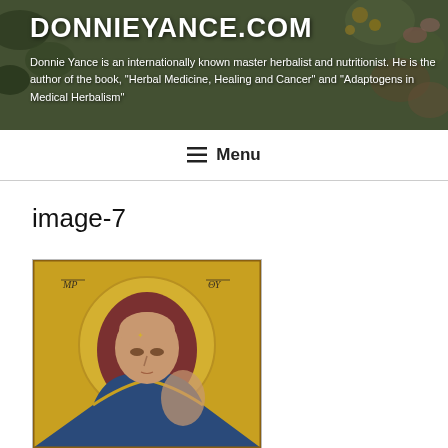DONNIEYANCE.COM
Donnie Yance is an internationally known master herbalist and nutritionist. He is the author of the book, "Herbal Medicine, Healing and Cancer" and "Adaptogens in Medical Herbalism"
☰ Menu
image-7
[Figure (photo): A religious icon painting depicting the Virgin Mary (Madonna) with a golden halo and dark reddish-brown veil, looking downward. The icon features traditional Byzantine/Orthodox style with gold background and the Cyrillic/Greek inscriptions MP and ΘY at the top corners.]